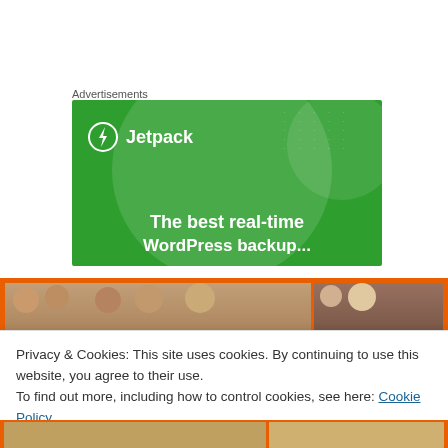Advertisements
[Figure (illustration): Jetpack advertisement banner with green background, Jetpack logo with lightning bolt icon, and text 'The best real-time WordPress backup...']
[Figure (photo): Strip of photos showing children, with orange border, partially visible]
Privacy & Cookies: This site uses cookies. By continuing to use this website, you agree to their use.
To find out more, including how to control cookies, see here: Cookie Policy
Close and accept
[Figure (photo): Bottom orange strip with partial photo content]